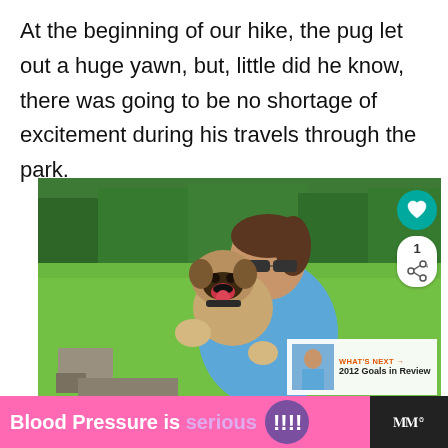At the beginning of our hike, the pug let out a huge yawn, but, little did he know, there was going to be no shortage of excitement during his travels through the park.
[Figure (photo): A woman with sunglasses holding a yawning pug dog outdoors in a green grassy park area with trees in background. UI overlays include a teal heart button, share button with count '1', and a 'WHAT'S NEXT' panel showing '2012 Goals in Review'.]
Blood Pressure is serious